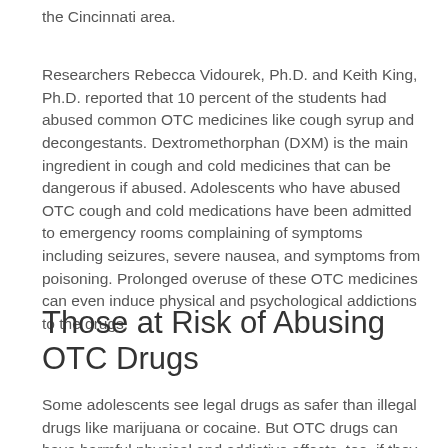the Cincinnati area.
Researchers Rebecca Vidourek, Ph.D. and Keith King, Ph.D. reported that 10 percent of the students had abused common OTC medicines like cough syrup and decongestants. Dextromethorphan (DXM) is the main ingredient in cough and cold medicines that can be dangerous if abused. Adolescents who have abused OTC cough and cold medications have been admitted to emergency rooms complaining of symptoms including seizures, severe nausea, and symptoms from poisoning. Prolonged overuse of these OTC medicines can even induce physical and psychological addictions to the drugs.
Those at Risk of Abusing OTC Drugs
Some adolescents see legal drugs as safer than illegal drugs like marijuana or cocaine. But OTC drugs can have harmful physical and addictive affects, too, if they